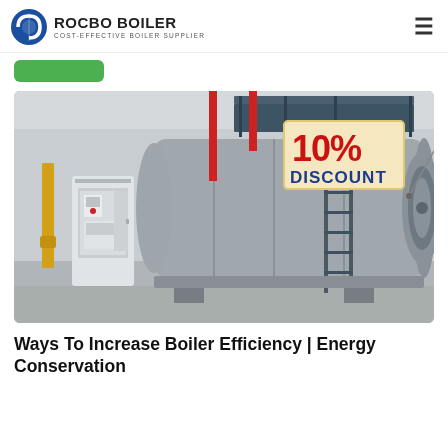ROCBO BOILER | COST-EFFECTIVE BOILER SUPPLIER
[Figure (photo): Industrial boiler unit in a factory setting with yellow and red pipes, a control panel on the left, a metal staircase, and a '10% DISCOUNT' badge overlaid on the boiler tank]
Ways To Increase Boiler Efficiency | Energy Conservation